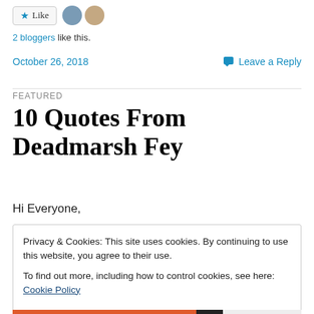[Figure (other): Like button with star icon and two blogger avatars]
2 bloggers like this.
October 26, 2018   💬 Leave a Reply
FEATURED
10 Quotes From Deadmarsh Fey
Hi Everyone,
Privacy & Cookies: This site uses cookies. By continuing to use this website, you agree to their use.
To find out more, including how to control cookies, see here: Cookie Policy
Close and accept